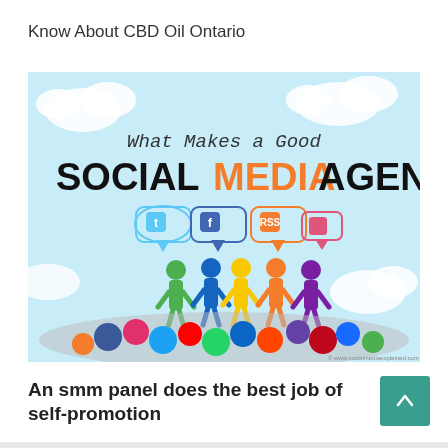Know About CBD Oil Ontario
[Figure (illustration): Infographic titled 'What Makes a Good SOCIAL MEDIA AGENCY' showing five colorful human figures (green, blue, yellow, orange, purple) standing among a pile of social media icons/logos, with speech bubbles containing social media icons above them, on a light blue background with clouds.]
An smm panel does the best job of self-promotion